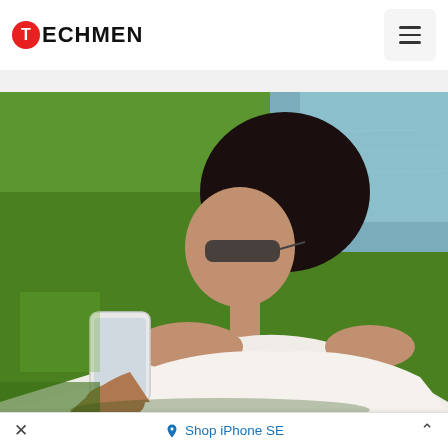TECHMEN
[Figure (photo): A woman with dark hair in a bun, wearing sunglasses and a white off-shoulder top, sitting outdoors on grass near water, looking at a white smartphone she holds in her hand.]
Shop iPhone SE